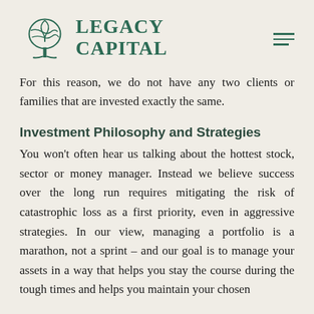[Figure (logo): Legacy Capital logo with stylized tree icon and text 'LEGACY CAPITAL' in dark green, plus hamburger menu icon]
For this reason, we do not have any two clients or families that are invested exactly the same.
Investment Philosophy and Strategies
You won't often hear us talking about the hottest stock, sector or money manager. Instead we believe success over the long run requires mitigating the risk of catastrophic loss as a first priority, even in aggressive strategies. In our view, managing a portfolio is a marathon, not a sprint – and our goal is to manage your assets in a way that helps you stay the course during the tough times and helps you maintain your chosen